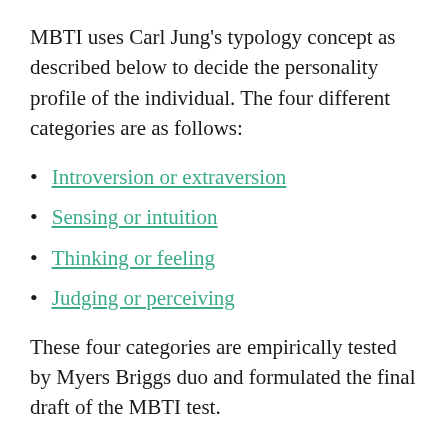MBTI uses Carl Jung’s typology concept as described below to decide the personality profile of the individual. The four different categories are as follows:
Introversion or extraversion
Sensing or intuition
Thinking or feeling
Judging or perceiving
These four categories are empirically tested by Myers Briggs duo and formulated the final draft of the MBTI test.